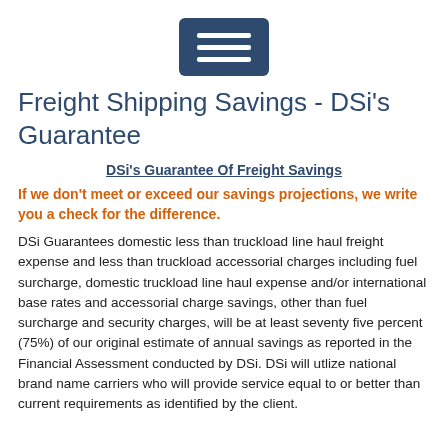[Figure (other): Hamburger menu button icon with three white horizontal lines on a dark blue rounded rectangle background]
Freight Shipping Savings - DSi's Guarantee
DSi's Guarantee Of Freight Savings
If we don't meet or exceed our savings projections, we write you a check for the difference.
DSi Guarantees domestic less than truckload line haul freight expense and less than truckload accessorial charges including fuel surcharge, domestic truckload line haul expense and/or international base rates and accessorial charge savings, other than fuel surcharge and security charges, will be at least seventy five percent (75%) of our original estimate of annual savings as reported in the Financial Assessment conducted by DSi. DSi will utlize national brand name carriers who will provide service equal to or better than current requirements as identified by the client.